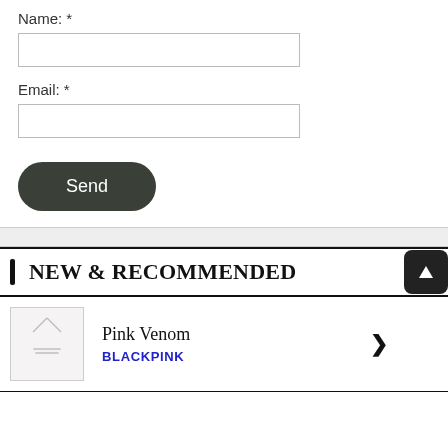Name: *
Email: *
[Figure (other): Send button — dark rounded rectangle with white text 'Send']
NEW & RECOMMENDED
Pink Venom
BLACKPINK